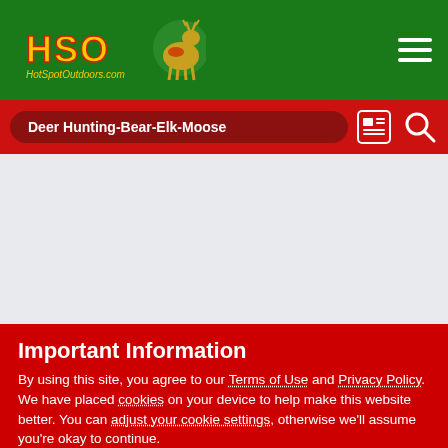[Figure (logo): HSO HotSpotOutdoors.com logo — yellow/green/red deer graphic with stylized HSO text]
Deer Hunting-Bear-Elk-Moose
Important Information
By using this site, you agree to our Terms of Use and Privacy Policy. We have placed cookies on your device to help make this website better. You can adjust your cookie settings, otherwise we'll assume you're okay to continue.
✓  I accept